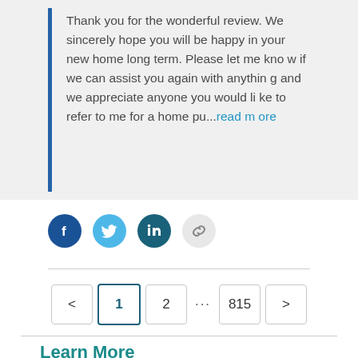Thank you for the wonderful review. We sincerely hope you will be happy in your new home long term. Please let me know if we can assist you again with anything and we appreciate anyone you would like to refer to me for a home pu...read more
[Figure (infographic): Social sharing icons row: Facebook (dark blue circle), Twitter (light blue circle), LinkedIn (dark teal circle), Link/chain (light grey circle)]
< 1 2 ... 815 >
Learn More